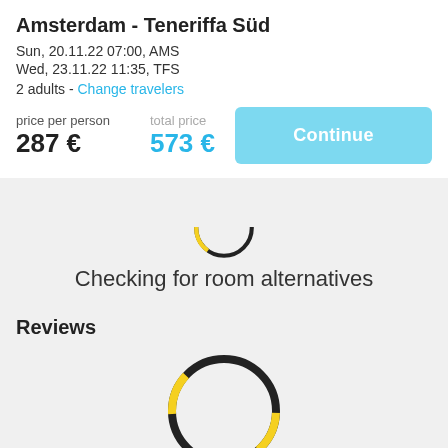Amsterdam - Teneriffa Süd
Sun, 20.11.22 07:00, AMS
Wed, 23.11.22 11:35, TFS
2 adults - Change travelers
price per person
287 €
total price
573 €
Continue
[Figure (other): Partial circular loading spinner with yellow and black arc segments, showing bottom half only]
Checking for room alternatives
Reviews
[Figure (other): Full circular loading spinner with yellow and black arc segments]